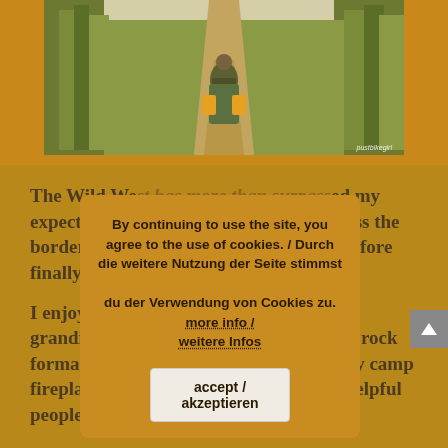[Figure (photo): A cyclist riding a loaded touring bicycle down a narrow dirt path through tall green grass/reeds, viewed from behind/front perspective. Watermark 'pustbikegirl' in bottom right corner.]
The Wild West has more than surpassed my expectations, and I am sure that I will pass the border area with fresh eyes in my eyes before finally getting to next world.
I enjoyed more than 10 months not only grandiose landscapes, extremenly superb rock formations, great trail loneliness and cozy camp fireplaces, not to mention friendly and helpful people.
By continuing to use the site, you agree to the use of cookies. / Durch die weitere Nutzung der Seite stimmst du der Verwendung von Cookies zu. more info / weitere Infos
accept / akzeptieren